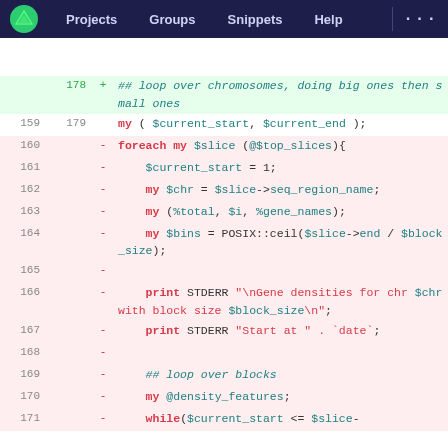Projects  Groups  Snippets  Help  ...
[Figure (screenshot): GitLab diff view showing Perl code changes. Lines 159-171 shown with old/new line numbers, additions in green background and deletions in red/pink background. Code involves looping over chromosomes and blocks.]